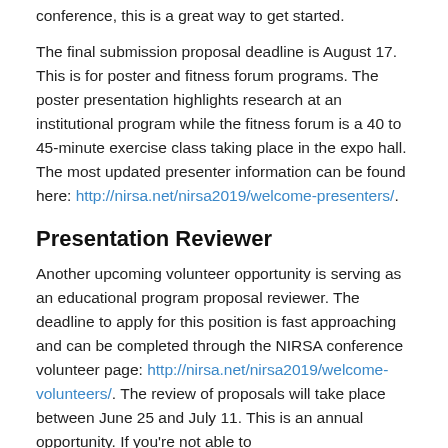conference, this is a great way to get started.
The final submission proposal deadline is August 17. This is for poster and fitness forum programs. The poster presentation highlights research at an institutional program while the fitness forum is a 40 to 45-minute exercise class taking place in the expo hall. The most updated presenter information can be found here: http://nirsa.net/nirsa2019/welcome-presenters/.
Presentation Reviewer
Another upcoming volunteer opportunity is serving as an educational program proposal reviewer. The deadline to apply for this position is fast approaching and can be completed through the NIRSA conference volunteer page: http://nirsa.net/nirsa2019/welcome-volunteers/. The review of proposals will take place between June 25 and July 11. This is an annual opportunity. If you're not able to